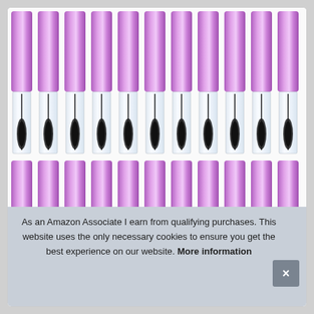[Figure (photo): Grid of clear mascara/lip gloss tubes with metallic purple/violet caps arranged in two rows. Top row shows 11 full-length tubes with clear barrels and visible wand applicators. Bottom row shows 11 partial tubes with the same purple metallic caps.]
As an Amazon Associate I earn from qualifying purchases. This website uses the only necessary cookies to ensure you get the best experience on our website. More information